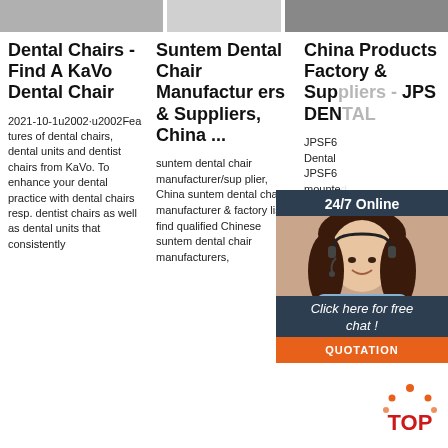[Figure (photo): Top strip with partial website screenshots showing dental chair images]
Dental Chairs - Find A KaVo Dental Chair
2021-10-1u2002·u2002Features of dental chairs, dental units and dentist chairs from KaVo. To enhance your dental practice with dental chairs resp. dentist chairs as well as dental units that consistently
Suntem Dental Chair Manufacturers & Suppliers, China ...
suntem dental chair manufacturer/supplier, China suntem dental chair manufacturer & factory list, find qualified Chinese suntem dental chair manufacturers,
China Products Factory & Suppliers - JPS DENTAL
JPSF6 Dental JPSF6 mounted treatment equipment equipment suitable for the treatment and operation of oral diseases in various medical institutions. It is a
[Figure (photo): Chat widget overlay with woman wearing headset, 24/7 Online label, Click here for free chat text, and QUOTATION button]
[Figure (logo): TOP badge with orange dots and red TOP text]